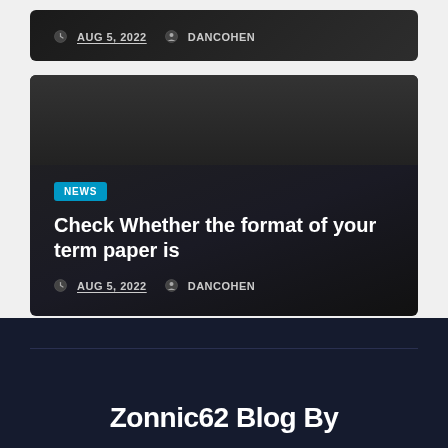AUG 5, 2022  DANCOHEN
[Figure (screenshot): Dark card with NEWS badge and article title 'Check Whether the format of your term paper is' with metadata AUG 5, 2022 and DANCOHEN]
Check Whether the format of your term paper is
AUG 5, 2022  DANCOHEN
Zonnic62 Blog By